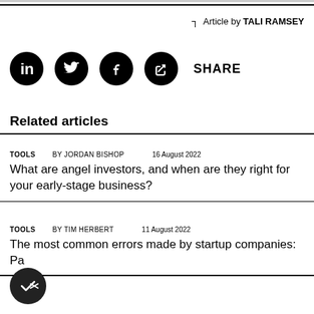Article by TALI RAMSEY
[Figure (other): Social media share icons: LinkedIn, Twitter, Facebook, link/share. Followed by SHARE label.]
Related articles
TOOLS  BY JORDAN BISHOP  16 August 2022
What are angel investors, and when are they right for your early-stage business?
TOOLS  BY TIM HERBERT  11 August 2022
The most common errors made by startup companies: Pa...